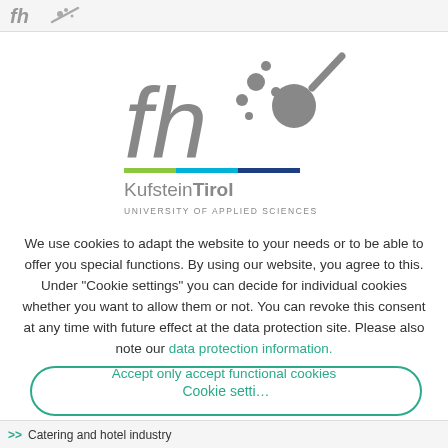fh
[Figure (logo): FH Kufstein Tirol University of Applied Sciences logo — stylized 'fh' letters in gray with a comet/star graphic, colored bar (green, light blue, dark blue), and text 'KufsteinTirol UNIVERSITY OF APPLIED SCIENCES']
We use cookies to adapt the website to your needs or to be able to offer you special functions. By using our website, you agree to this. Under "Cookie settings" you can decide for individual cookies whether you want to allow them or not. You can revoke this consent at any time with future effect at the data protection site. Please also note our data protection information.
Accept only accept functional cookies
[Figure (other): Cookie settings button outline (teal rounded rectangle border, partially visible)]
>> Catering and hotel industry